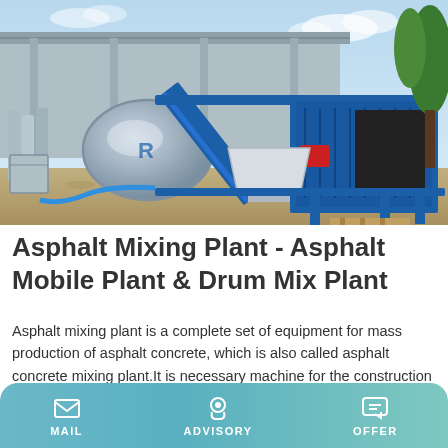[Figure (photo): Blue asphalt mixing plant / mobile drum mix plant on a gravel yard, with a cylindrical drum, conveyor belt, hopper, engine box, and metal pipes visible. Industrial shed in background, trees on right.]
Asphalt Mixing Plant - Asphalt Mobile Plant & Drum Mix Plant
Asphalt mixing plant is a complete set of equipment for mass production of asphalt concrete, which is also called asphalt concrete mixing plant.It is necessary machine for the construction of highways, grade roads, ports, municipal roads, airports and so on. According to the way of its mixing, asphalt
MAIL   ADVISORY   OFFER